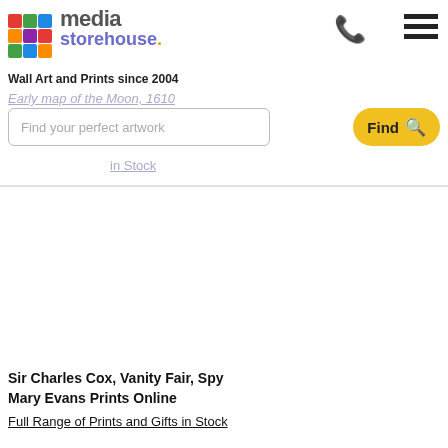[Figure (logo): Media Storehouse logo with colorful grid icon, 'media' in gray bold text and 'storehouse.' in purple with orange dot]
Wall Art and Prints since 2004
Early map of the Moon, 1610
Find your perfect artwork
in Stock
[Figure (photo): Main product image area (blank/white in this capture)]
Sir Charles Cox, Vanity Fair, Spy
Mary Evans Prints Online
Full Range of Prints and Gifts in Stock